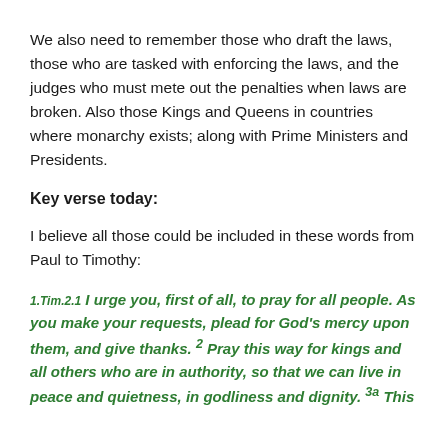We also need to remember those who draft the laws, those who are tasked with enforcing the laws, and the judges who must mete out the penalties when laws are broken. Also those Kings and Queens in countries where monarchy exists; along with Prime Ministers and Presidents.
Key verse today:
I believe all those could be included in these words from Paul to Timothy:
1.Tim.2.1 I urge you, first of all, to pray for all people. As you make your requests, plead for God’s mercy upon them, and give thanks. 2 Pray this way for kings and all others who are in authority, so that we can live in peace and quietness, in godliness and dignity. 3a This